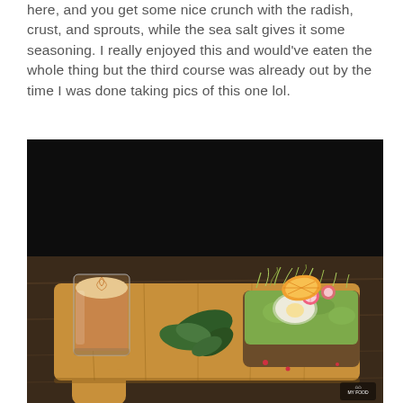here, and you get some nice crunch with the radish, crust, and sprouts, while the sea salt gives it some seasoning. I really enjoyed this and would've eaten the whole thing but the third course was already out by the time I was done taking pics of this one lol.
[Figure (photo): A wooden serving board on a dark wooden table holding an avocado toast topped with a poached egg, sliced radish, sprouts, and an orange slice, alongside a small glass of latte art coffee and a mixed green salad garnish. A small watermark logo appears in the bottom right corner.]